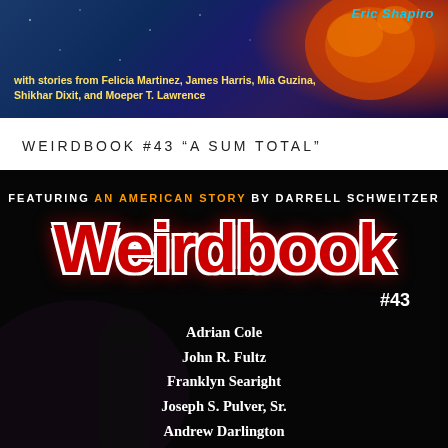[Figure (illustration): Top banner showing a science fiction magazine cover with blue/purple space background, orange planet or explosion on the right, and yellow author name 'Eric Shapiro' at top right. Yellow text credits contributing authors.]
with stories from Felicia Martinez, James Harris, Mia Guzina, Shikhar Dixit, and Moeper T. Lawrence
WEIRDBOOK #43 "A SUM TOTAL"
[Figure (illustration): Weirdbook #43 magazine cover on black background featuring large red bold 'Weirdbook' logo with white outline, subtitle 'FEATURING AN AMERICAN STORY BY DARRELL SCHWEITZER', issue number #43, and list of contributors on dark background with dramatic lighting.]
FEATURING AN AMERICAN STORY BY DARRELL SCHWEITZER
Weirdbook
#43
Adrian Cole
John R. Fultz
Franklyn Searight
Joseph S. Pulver, Sr.
Andrew Darlington
Sharon Cullars
Eric R...